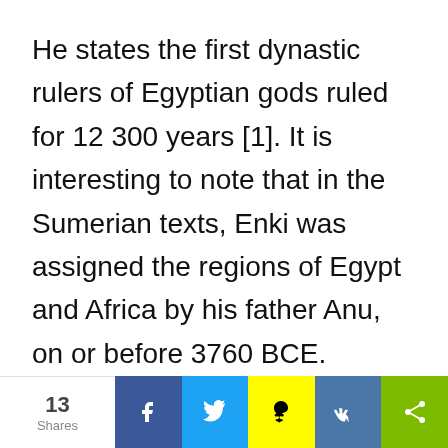He states the first dynastic rulers of Egyptian gods ruled for 12 300 years [1]. It is interesting to note that in the Sumerian texts, Enki was assigned the regions of Egypt and Africa by his father Anu, on or before 3760 BCE.

It just so happens that the Jewish calendar, whose origins are from the Sumerian city of Nippur, begins its
13 Shares | Facebook | Twitter | Snapchat | VK | Share